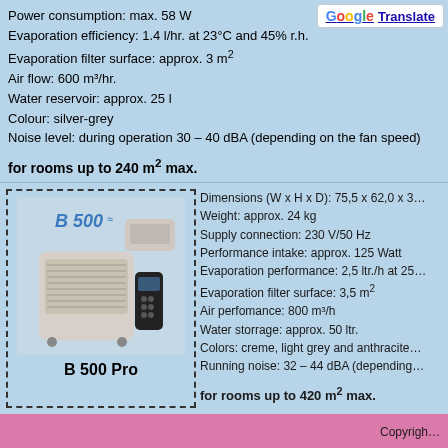Power consumption: max. 58 W
Evaporation efficiency: 1.4 l/hr. at 23°C and 45% r.h.
Evaporation filter surface: approx. 3 m²
Air flow: 600 m³/hr.
Water reservoir: approx. 25 l
Colour: silver-grey
Noise level: during operation 30 – 40 dBA (depending on the fan speed)
for rooms up to 240 m² max.
[Figure (photo): B 500 Pro humidifier product photo showing the unit with remote control]
B 500 Pro
Dimensions (W x H x D): 75,5 x 62,0 x 3...
Weight: approx. 24 kg
Supply connection: 230 V/50 Hz
Performance intake: approx. 125 Watt
Evaporation performance: 2,5 ltr./h at 25...
Evaporation filter surface: 3,5 m²
Air perfomance: 800 m³/h
Water storrage: approx. 50 ltr.
Colors: creme, light grey and anthracite...
Running noise: 32 – 44 dBA (depending...
for rooms up to 420 m² max.
Copyright
Humidifiers